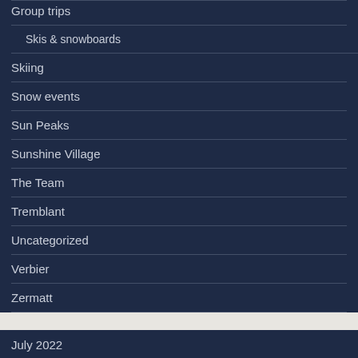Group trips
Skis & snowboards
Skiing
Snow events
Sun Peaks
Sunshine Village
The Team
Tremblant
Uncategorized
Verbier
Zermatt
July 2022
May 2022
March 2022